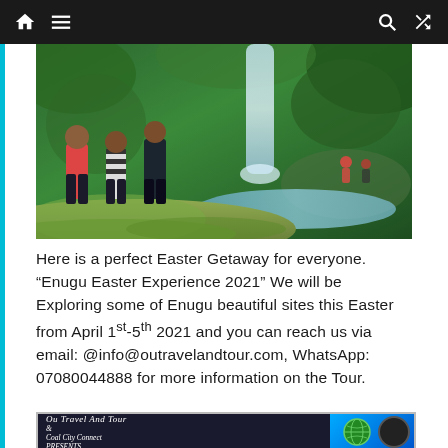Navigation bar with home, menu, search, and shuffle icons
[Figure (photo): People standing on mossy rocks in front of a waterfall surrounded by green vegetation]
Here is a perfect Easter Getaway for everyone. “Enugu Easter Experience 2021” We will be Exploring some of Enugu beautiful sites this Easter from April 1st-5th 2021 and you can reach us via email: @info@outravelandtour.com, WhatsApp: 07080044888 for more information on the Tour.
[Figure (illustration): Ou Travel And Tour & Coal City Connect PRESENTS. banner advertisement with logos]